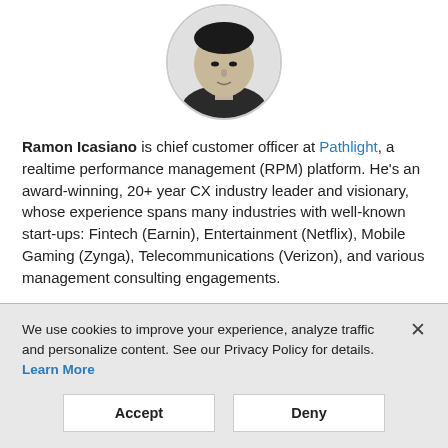[Figure (photo): Black and white circular profile photo of Ramon Icasiano, a man in a dark shirt.]
Ramon Icasiano is chief customer officer at Pathlight, a realtime performance management (RPM) platform. He's an award-winning, 20+ year CX industry leader and visionary, whose experience spans many industries with well-known start-ups: Fintech (Earnin), Entertainment (Netflix), Mobile Gaming (Zynga), Telecommunications (Verizon), and various management consulting engagements.
We use cookies to improve your experience, analyze traffic and personalize content. See our Privacy Policy for details. Learn More
Accept
Deny